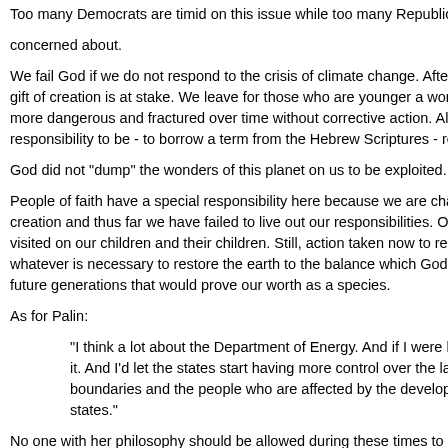Too many Democrats are timid on this issue while too many Republicans are concerned about.
We fail God if we do not respond to the crisis of climate change. After a gift of creation is at stake. We leave for those who are younger a world more dangerous and fractured over time without corrective action. All t responsibility to be - to borrow a term from the Hebrew Scriptures - res
God did not "dump" the wonders of this planet on us to be exploited.
People of faith have a special responsibility here because we are char creation and thus far we have failed to live out our responsibilities. Ou visited on our children and their children. Still, action taken now to repe whatever is necessary to restore the earth to the balance which God c future generations that would prove our worth as a species.
As for Palin:
"I think a lot about the Department of Energy. And if I were hea it. And I'd let the states start having more control over the lands boundaries and the people who are affected by the developm states."
No one with her philosophy should be allowed during these times to h literally at risk.